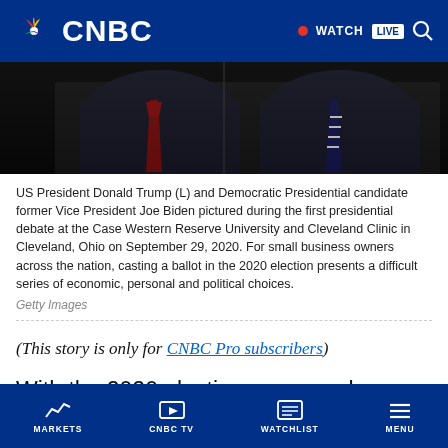CNBC — WATCH LIVE
[Figure (photo): Two men in suits at a presidential debate — US President Donald Trump (L) and Democratic Presidential candidate former Vice President Joe Biden, pictured at Case Western Reserve University and Cleveland Clinic, Cleveland, Ohio, September 29, 2020.]
US President Donald Trump (L) and Democratic Presidential candidate former Vice President Joe Biden pictured during the first presidential debate at the Case Western Reserve University and Cleveland Clinic in Cleveland, Ohio on September 29, 2020. For small business owners across the nation, casting a ballot in the 2020 election presents a difficult series of economic, personal and political choices.
Getty Images
(This story is only for CNBC Pro subscribers)
With the 2020 elections one week away, Wall Street firms are prepping clients on how to adjust
MARKETS | CNBC TV | WATCHLIST | MENU